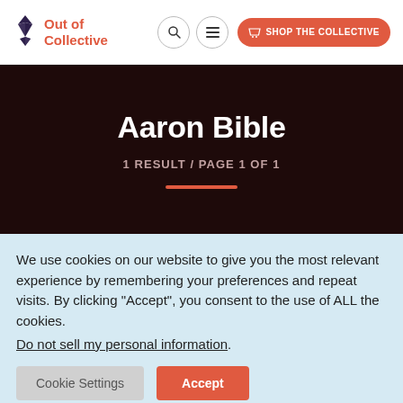Out of Collective — navigation bar with logo, search, menu, and Shop the Collective button
Aaron Bible
1 RESULT / PAGE 1 OF 1
We use cookies on our website to give you the most relevant experience by remembering your preferences and repeat visits. By clicking “Accept”, you consent to the use of ALL the cookies. Do not sell my personal information.
Cookie Settings   Accept